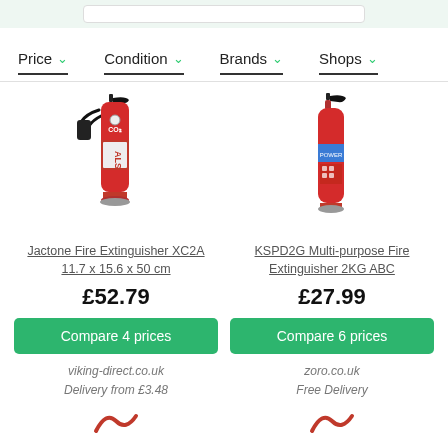[Figure (screenshot): Top search bar area on light green/grey background]
Price ∨   Condition ∨   Brands ∨   Shops ∨
[Figure (photo): Jactone Fire Extinguisher XC2A red CO2 extinguisher product photo]
Jactone Fire Extinguisher XC2A 11.7 x 15.6 x 50 cm
£52.79
Compare 4 prices
viking-direct.co.uk
Delivery from £3.48
[Figure (photo): KSPD2G Multi-purpose Fire Extinguisher 2KG ABC red product photo]
KSPD2G Multi-purpose Fire Extinguisher 2KG ABC
£27.99
Compare 6 prices
zoro.co.uk
Free Delivery